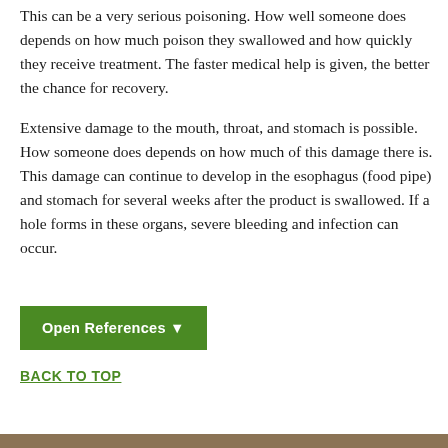This can be a very serious poisoning. How well someone does depends on how much poison they swallowed and how quickly they receive treatment. The faster medical help is given, the better the chance for recovery.
Extensive damage to the mouth, throat, and stomach is possible. How someone does depends on how much of this damage there is. This damage can continue to develop in the esophagus (food pipe) and stomach for several weeks after the product is swallowed. If a hole forms in these organs, severe bleeding and infection can occur.
Open References ▾
BACK TO TOP